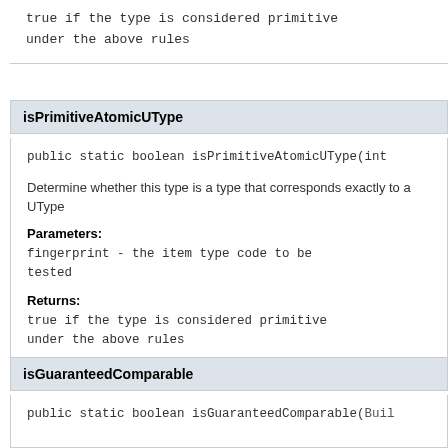true if the type is considered primitive under the above rules
isPrimitiveAtomicUType
public static boolean isPrimitiveAtomicUType(int
Determine whether this type is a type that corresponds exactly to a UType
Parameters:
fingerprint - the item type code to be tested
Returns:
true if the type is considered primitive under the above rules
isGuaranteedComparable
public static boolean isGuaranteedComparable(Buil